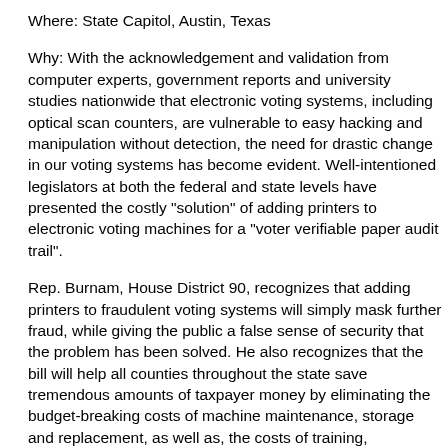Where: State Capitol, Austin, Texas
Why: With the acknowledgement and validation from computer experts, government reports and university studies nationwide that electronic voting systems, including optical scan counters, are vulnerable to easy hacking and manipulation without detection, the need for drastic change in our voting systems has become evident. Well-intentioned legislators at both the federal and state levels have presented the costly "solution" of adding printers to electronic voting machines for a "voter verifiable paper audit trail".
Rep. Burnam, House District 90, recognizes that adding printers to fraudulent voting systems will simply mask further fraud, while giving the public a false sense of security that the problem has been solved. He also recognizes that the bill will help all counties throughout the state save tremendous amounts of taxpayer money by eliminating the budget-breaking costs of machine maintenance, storage and replacement, as well as, the costs of training, programming, yearly software license fees, support services, and transportation.
Rep. Burnam therefore filed the Texas Hand-Counted Paper Ballot Bill of 2007, H.B. 2894, to eliminate the use of any